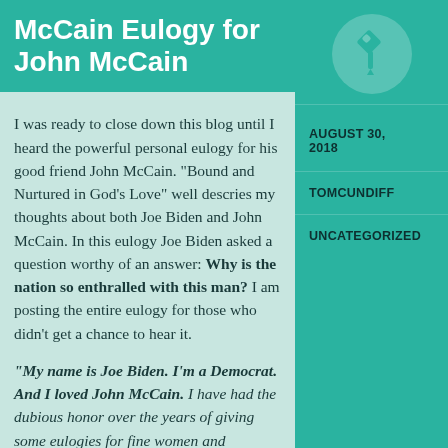McCain Eulogy for John McCain
I was ready to close down this blog until I heard the powerful personal eulogy for his good friend John McCain.  “Bound and Nurtured in God’s Love” well descries my thoughts about both Joe Biden and John McCain.  In this eulogy Joe Biden asked a question worthy of an answer: Why is the nation so enthralled with this man?  I am posting the entire eulogy for those who didn’t get a chance to hear it.
“My name is Joe Biden. I’m a Democrat. And I loved John McCain. I have had the dubious honor over the years of giving some eulogies for fine women and
[Figure (illustration): A teal circle with a white pushpin/thumbtack icon in the center]
AUGUST 30, 2018
TOMCUNDIFF
UNCATEGORIZED